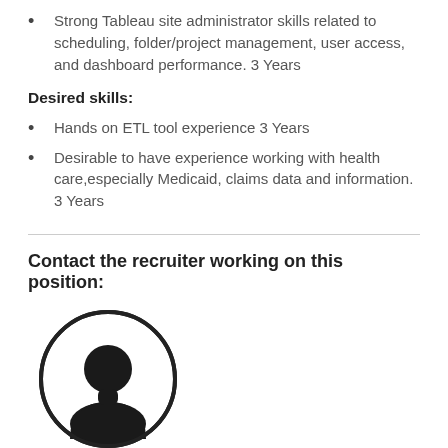Strong Tableau site administrator skills related to scheduling, folder/project management, user access, and dashboard performance. 3 Years
Desired skills:
Hands on ETL tool experience 3 Years
Desirable to have experience working with health care,especially Medicaid, claims data and information. 3 Years
Contact the recruiter working on this position:
[Figure (illustration): Silhouette of a person in a circle, representing a recruiter profile placeholder image]